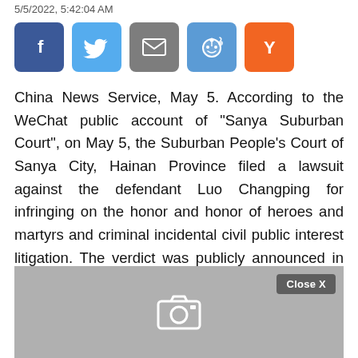5/5/2022, 5:42:04 AM
[Figure (infographic): Social media sharing buttons: Facebook (blue), Twitter (light blue), Email (gray), Reddit (blue), Y Combinator Hacker News (orange)]
China News Service, May 5. According to the WeChat public account of "Sanya Suburban Court", on May 5, the Suburban People's Court of Sanya City, Hainan Province filed a lawsuit against the defendant Luo Changping for infringing on the honor and honor of heroes and martyrs and criminal incidental civil public interest litigation. The verdict was publicly announced in accordance with the law, and
[Figure (screenshot): Advertisement block with gray background, a camera icon at center bottom, and a 'Close X' button in the top right corner.]